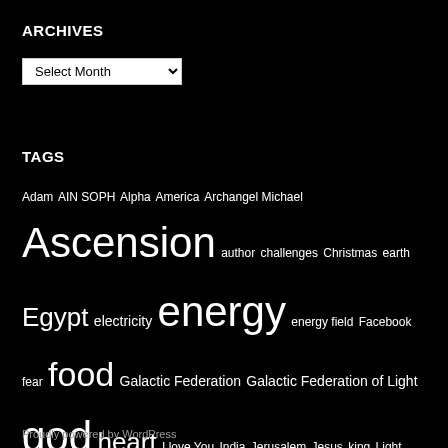ARCHIVES
[Figure (other): Select Month dropdown widget]
TAGS
Adam AIN SOPH Alpha America Archangel Michael Ascension author challenges Christmas earth Egypt electricity energy energy field Facebook fear food Galactic Federation Galactic Federation of Light god heart I love You India Jerusalem Jesus king Light love Marlene Swetlishoff Mary meditation Mexico Mother Earth mud nbsp oil Radiation representative Samuel Aun Weor scientist solar systems Tree of Life United States US Federal Reserve wisdom
Proudly powered by WordPress